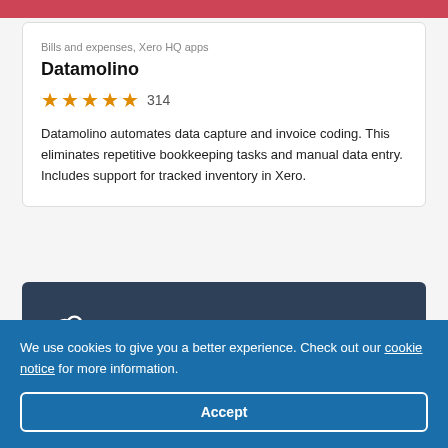Bills and expenses, Xero HQ apps
Datamolino
★★★★★ 314
Datamolino automates data capture and invoice coding. This eliminates repetitive bookkeeping tasks and manual data entry. Includes support for tracked inventory in Xero.
[Figure (logo): Lightyear logo — white cloud icon with lowercase letter g and the word 'Lightyear' on a dark navy background]
We use cookies to give you a better experience. Check out our cookie notice for more information.
Accept